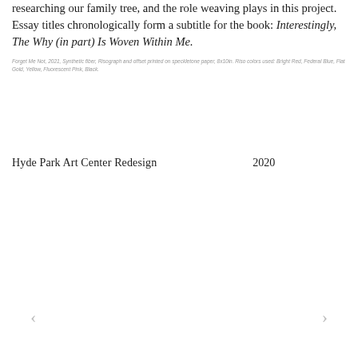researching our family tree, and the role weaving plays in this project. Essay titles chronologically form a subtitle for the book: Interestingly, The Why (in part) Is Woven Within Me.
Forget Me Not, 2021, Synthetic fiber, Risograph and offset printed on speckletone paper, 8x10in. Riso colors used: Bright Red, Federal Blue, Flat Gold, Yellow, Fluorescent Pink, Black.
Hyde Park Art Center Redesign	2020